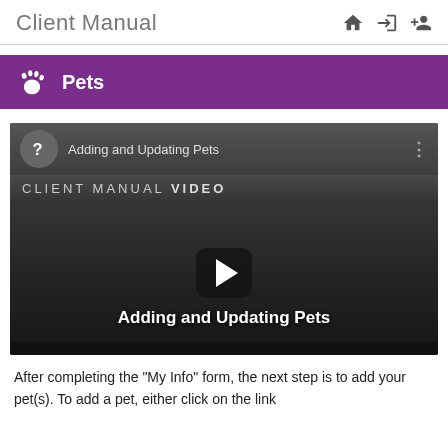Client Manual
Pets
[Figure (screenshot): YouTube-style video thumbnail for 'Adding and Updating Pets' — CLIENT MANUAL VIDEO with a play button overlay and the title 'Adding and Updating Pets' displayed on the video frame.]
After completing the "My Info" form, the next step is to add your pet(s). To add a pet, either click on the link